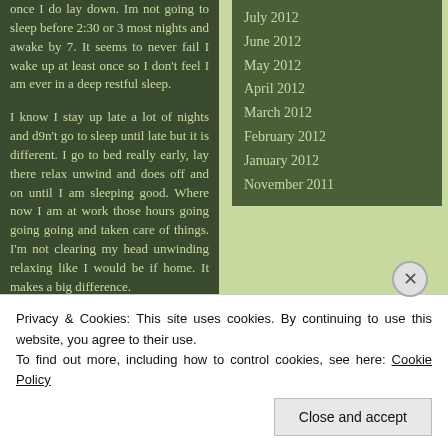once I do lay down. Im not going to sleep before 2:30 or 3 most nights and awake by 7. It seems to never fail I wake up at least once so I don't feel I am ever in a deep restful sleep.

I know I stay up late a lot of nights and d9n't go to sleep until late but it is different. I go to bed really early, lay there relax unwind and does off and on until I am sleeping good. Where now I am at work those hours going going going and taken care of things. I'm not clearing my head unwinding relaxing like I would be if home. It makes a big difference.

I hope by next week I am
July 2012
June 2012
May 2012
April 2012
March 2012
February 2012
January 2012
November 2011
et cetera
Theme: Girl in Green by Stacey Leung
Get a free blog at WordPress.com
Privacy & Cookies: This site uses cookies. By continuing to use this website, you agree to their use.
To find out more, including how to control cookies, see here: Cookie Policy
Close and accept